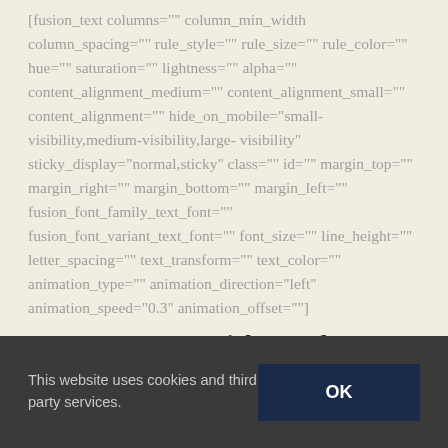[fusion_text columns="" column_min_width column_spacing="" rule_style="" rule_size="" rule_color="" hue="" saturation="" lightness="" alpha="" content_alignment_medium="" content_alignment_small="" content_alignment="" hide_on_mobile="small-visibility,medium-visibility,large-visibility" sticky_display="normal,sticky" class="" id="" margin_top="" margin_right="" margin_bottom="" margin_left="" fusion_font_family_text_font="" fusion_font_variant_text_font="" font_size="" line_height="" letter_spacing="" text_transform="" text_color="" animation_type="" animation_direction="left" animation_speed="0.3" animation_offset=""]
Lantern Light Fund
This website uses cookies and third party services.